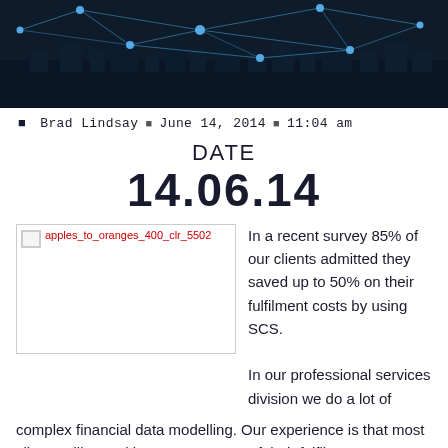[Figure (photo): Dark blue network/cityscape banner image with glowing connected nodes forming a web pattern over a city skyline at night]
⬛ Brad Lindsay ⬛ June 14, 2014 ⬛ 11:04 am
DATE
14.06.14
[Figure (other): Broken image placeholder labeled apples_to_oranges_400_clr_5502]
In a recent survey 85% of our clients admitted they saved up to 50% on their fulfilment costs by using SCS.
In our professional services division we do a lot of complex financial data modelling. Our experience is that most clients will spend between 15-25% of their fulfil...
complex financial data modelling. Our experience is that most clients will spend between 15-25% of their fulfilment costs to do...